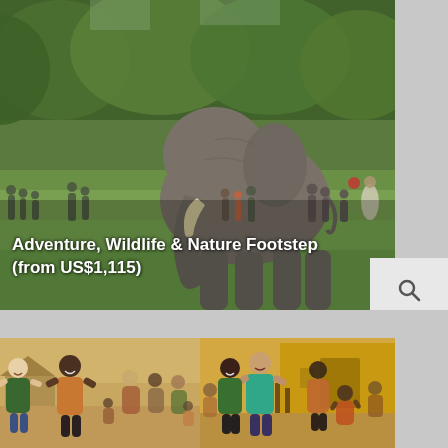[Figure (photo): An African elephant walking in a green grassy field with trees in the background and multiple people standing watching at a distance]
Adventure, Wildlife & Nature Footstep (from US$1,115)
[Figure (photo): Search icon and label on a gray panel on the right side]
[Figure (photo): Two-panel photo showing people dancing and celebrating together in an African village setting]